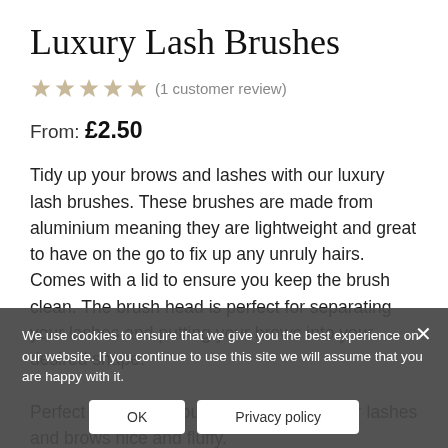Luxury Lash Brushes
★★★★★ (1 customer review)
From: £2.50
Tidy up your brows and lashes with our luxury lash brushes. These brushes are made from aluminium meaning they are lightweight and great to have on the go to fix up any unruly hairs. Comes with a lid to ensure you keep the brush clean. The brush head is perfect for separating your lashes and putting your brows into your desired shape.
Perfect to retail to your clients to keep their lashes and brows nice and fluffy.
Available in packs of 12, or one singular brush.
We use cookies to ensure that we give you the best experience on our website. If you continue to use this site we will assume that you are happy with it.